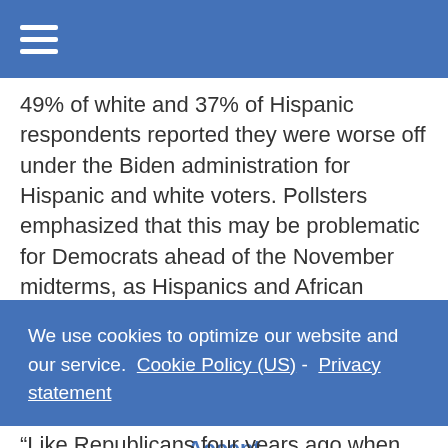49% of white and 37% of Hispanic respondents reported they were worse off under the Biden administration for Hispanic and white voters. Pollsters emphasized that this may be problematic for Democrats ahead of the November midterms, as Hispanics and African Americans are vital parts of President Biden’s base.
“Biden has endured one of the toughest first years
We use cookies to optimize our website and our service.  Cookie Policy (US)  -  Privacy statement
Accept
“Like Republicans four years ago when Donald